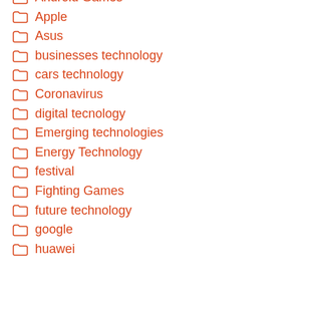Android Games (partially visible)
Apple
Asus
businesses technology
cars technology
Coronavirus
digital tecnology
Emerging technologies
Energy Technology
festival
Fighting Games
future technology
google
huawei